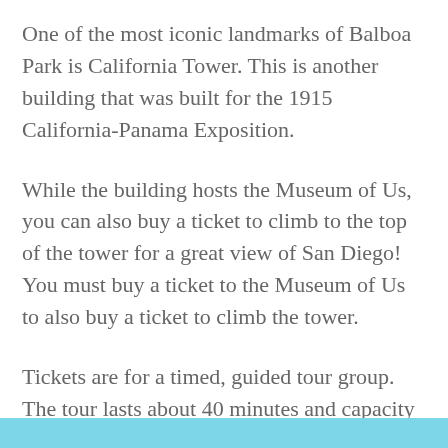One of the most iconic landmarks of Balboa Park is California Tower. This is another building that was built for the 1915 California-Panama Exposition.
While the building hosts the Museum of Us, you can also buy a ticket to climb to the top of the tower for a great view of San Diego! You must buy a ticket to the Museum of Us to also buy a ticket to climb the tower.
Tickets are for a timed, guided tour group. The tour lasts about 40 minutes and capacity is limited. If this is something you want to do, buy tickets ahead of time!
[Figure (other): Cyan/light blue decorative bar at bottom of page]